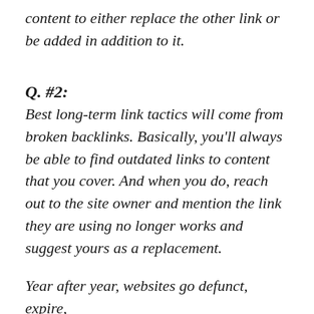content to either replace the other link or be added in addition to it.
Q. #2:
Best long-term link tactics will come from broken backlinks. Basically, you'll always be able to find outdated links to content that you cover. And when you do, reach out to the site owner and mention the link they are using no longer works and suggest yours as a replacement.
Year after year, websites go defunct, expire,